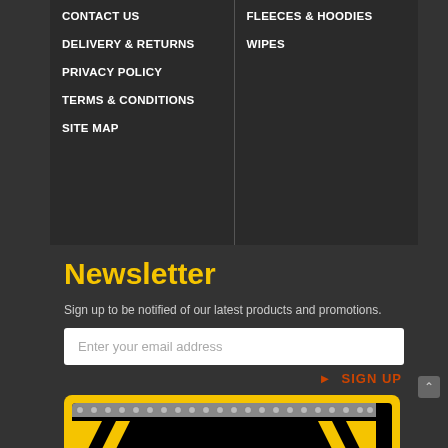CONTACT US
FLEECES & HOODIES
DELIVERY & RETURNS
WIPES
PRIVACY POLICY
TERMS & CONDITIONS
SITE MAP
Newsletter
Sign up to be notified of our latest products and promotions.
Enter your email address
► SIGN UP
[Figure (logo): The Safety Shack logo — black and yellow hazard stripe banner with white bold text 'THE SAFETY SHACK' and subtitle 'WORKWEAR • PPE • SAFETY EQUIPMENT']
CUSTOMER SUPPORT